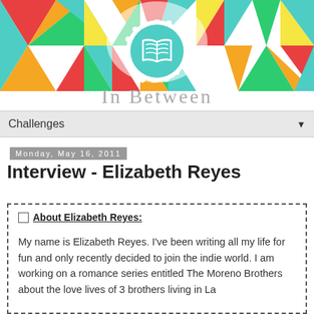[Figure (illustration): Colorful geometric triangular banner with teal, red, orange, yellow, green color scheme, featuring a central circular badge with an open book icon and scalloped white border]
In Between
Challenges ▼
Monday, May 16, 2011
Interview - Elizabeth Reyes
About Elizabeth Reyes:
My name is Elizabeth Reyes. I've been writing all my life for fun and only recently decided to join the indie world. I am working on a romance series entitled The Moreno Brothers about the love lives of 3 brothers living in La